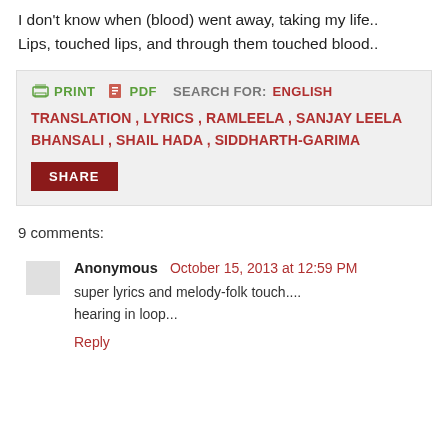I don't know when (blood) went away, taking my life..
Lips, touched lips, and through them touched blood..
PRINT  PDF  SEARCH FOR: ENGLISH TRANSLATION , LYRICS , RAMLEELA , SANJAY LEELA BHANSALI , SHAIL HADA , SIDDHARTH-GARIMA
SHARE
9 comments:
Anonymous  October 15, 2013 at 12:59 PM
super lyrics and melody-folk touch....
hearing in loop...
Reply